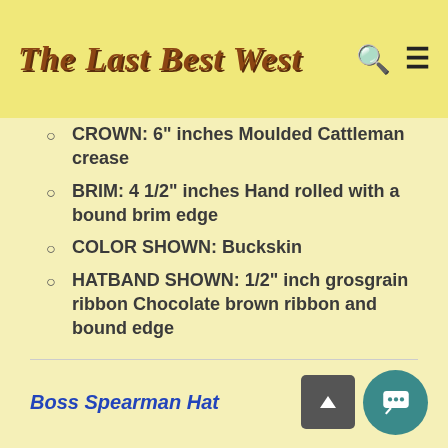The Last Best West
CROWN: 6" inches Moulded Cattleman crease
BRIM: 4 1/2" inches Hand rolled with a bound brim edge
COLOR SHOWN: Buckskin
HATBAND SHOWN: 1/2" inch grosgrain ribbon Chocolate brown ribbon and bound edge
Boss Spearman Hat